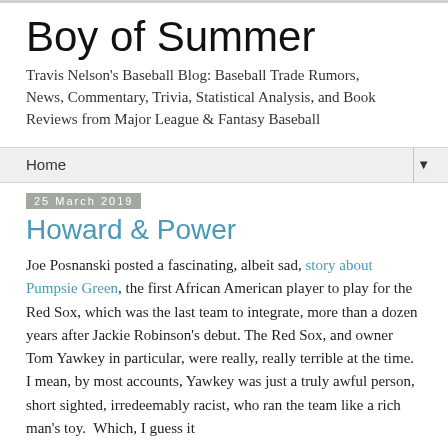Boy of Summer
Travis Nelson's Baseball Blog: Baseball Trade Rumors, News, Commentary, Trivia, Statistical Analysis, and Book Reviews from Major League & Fantasy Baseball
Home
25 March 2019
Howard & Power
Joe Posnanski posted a fascinating, albeit sad, story about Pumpsie Green, the first African American player to play for the Red Sox, which was the last team to integrate, more than a dozen years after Jackie Robinson's debut. The Red Sox, and owner Tom Yawkey in particular, were really, really terrible at the time.  I mean, by most accounts, Yawkey was just a truly awful person, short sighted, irredeemably racist, who ran the team like a rich man's toy.  Which, I guess it